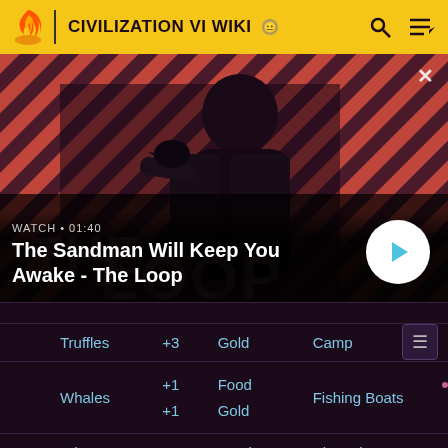CIVILIZATION VI WIKI
[Figure (screenshot): Video thumbnail for 'The Sandman Will Keep You Awake - The Loop' with a dark-cloaked figure and a raven on diagonal striped red/dark background. Labeled WATCH • 01:40 with a play button.]
| Resource | Bonus | Type | Improvement |
| --- | --- | --- | --- |
| Truffles | +3 | Gold | Camp |
| Whales | +1
+1 | Food
Gold | Fishing Boats |
| Wine | +1 | Food | Plantation |